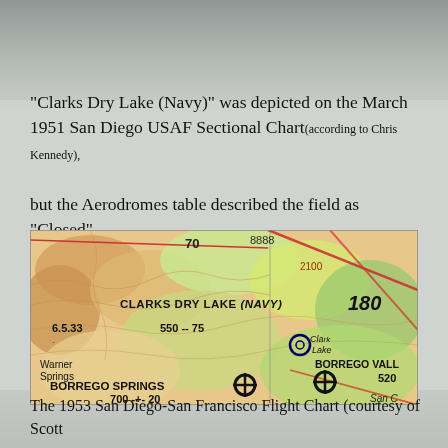"Clarks Dry Lake (Navy)" was depicted on the March 1951 San Diego USAF Sectional Chart(according to Chris Kennedy), but the Aerodromes table described the field as "Closed".
[Figure (map): Sectional aeronautical chart excerpt showing Clarks Dry Lake (Navy) area with Warner Springs, Borrego Springs, and Borrego Valley labeled. Elevation 550, 75, 700, 20, 180, 520 markings visible.]
The 1953 San Diego-San Francisco Flight Chart (courtesy of Scott